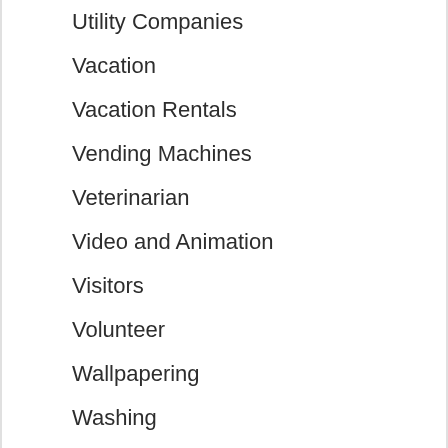Utility Companies
Vacation
Vacation Rentals
Vending Machines
Veterinarian
Video and Animation
Visitors
Volunteer
Wallpapering
Washing
Waste Removal
Waste Services
Water Damage
Water Filtration
Water Heaters